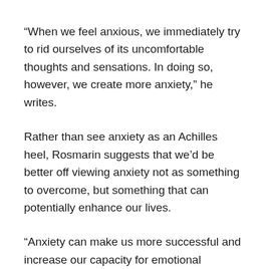“When we feel anxious, we immediately try to rid ourselves of its uncomfortable thoughts and sensations. In doing so, however, we create more anxiety,” he writes.
Rather than see anxiety as an Achilles heel, Rosmarin suggests that we’d be better off viewing anxiety not as something to overcome, but something that can potentially enhance our lives.
“Anxiety can make us more successful and increase our capacity for emotional connection,” Rosmarin continues.
“At a bare minimum, anxiety is like a smoke alarm. If the alarm goes off because you left the burner on under